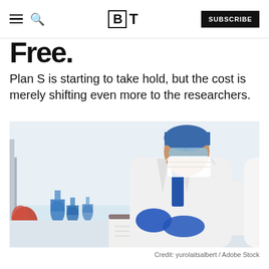BT — SUBSCRIBE
Free.
Plan S is starting to take hold, but the cost is merely shifting even more to the researchers.
[Figure (photo): A researcher in a white lab coat, blue gloves, surgical mask and cap, writing on a clipboard next to a microscope in a laboratory with blue flasks in the background.]
Credit: yurolaitsalbert / Adobe Stock